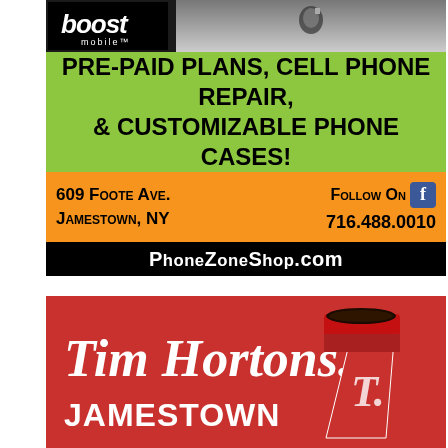[Figure (advertisement): Boost Mobile / PhoneZone Shop advertisement. Green banner: 'PRE-PAID PLANS, CELL PHONE REPAIR, & CUSTOMIZABLE PHONE CASES!'. Orange section: '609 Foote Ave. / Jamestown, NY' and 'Follow On [Facebook icon]' and '716.488.0010'. Black banner: 'PhoneZoneShop.com'.]
[Figure (advertisement): Tim Hortons Jamestown advertisement with white script 'Tim Hortons.' logo on red background, 'JAMESTOWN' in bold white text, and a red coffee cup on the right side.]